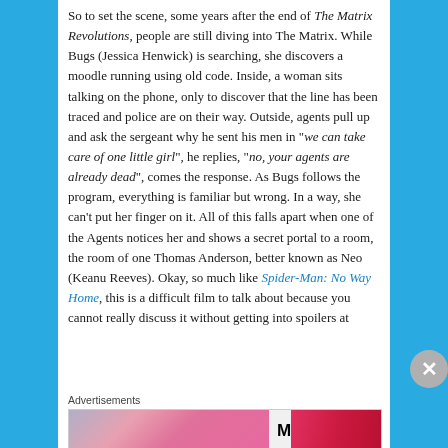So to set the scene, some years after the end of The Matrix Revolutions, people are still diving into The Matrix. While Bugs (Jessica Henwick) is searching, she discovers a moodle running using old code. Inside, a woman sits talking on the phone, only to discover that the line has been traced and police are on their way. Outside, agents pull up and ask the sergeant why he sent his men in "we can take care of one little girl", he replies, "no, your agents are already dead", comes the response. As Bugs follows the program, everything is familiar but wrong. In a way, she can't put her finger on it. All of this falls apart when one of the Agents notices her and shows a secret portal to a room, the room of one Thomas Anderson, better known as Neo (Keanu Reeves). Okay, so much like Spider-Man: No Way Home, this is a difficult film to talk about because you cannot really discuss it without getting into spoilers at
Advertisements
[Figure (other): MAC cosmetics advertisement banner showing lipsticks in purple, pink shades with MAC logo and SHOP NOW button]